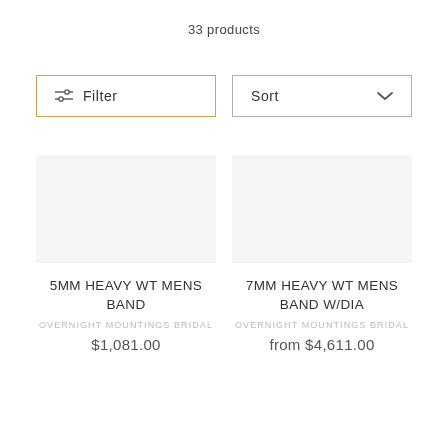33 products
[Figure (screenshot): Filter button with sliders icon and gold border]
[Figure (screenshot): Sort dropdown button with chevron]
5MM HEAVY WT MENS BAND
OVERNIGHT MOUNTINGS BRIDAL
$1,081.00
7MM HEAVY WT MENS BAND W/DIA
OVERNIGHT MOUNTINGS BRIDAL
from $4,611.00